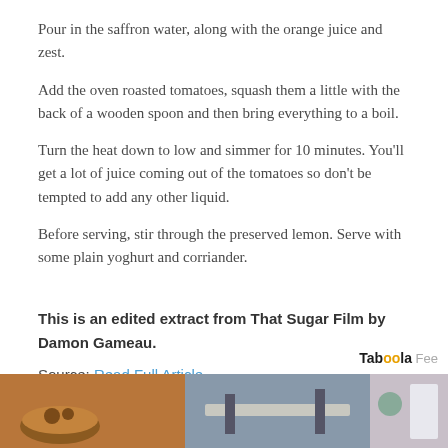Pour in the saffron water, along with the orange juice and zest.
Add the oven roasted tomatoes, squash them a little with the back of a wooden spoon and then bring everything to a boil.
Turn the heat down to low and simmer for 10 minutes. You’ll get a lot of juice coming out of the tomatoes so don’t be tempted to add any other liquid.
Before serving, stir through the preserved lemon. Serve with some plain yoghurt and corriander.
This is an edited extract from That Sugar Film by Damon Gameau.
Source: Read Full Article
Taboola Fee
[Figure (photo): Strip of three thumbnail images at the bottom of the page]